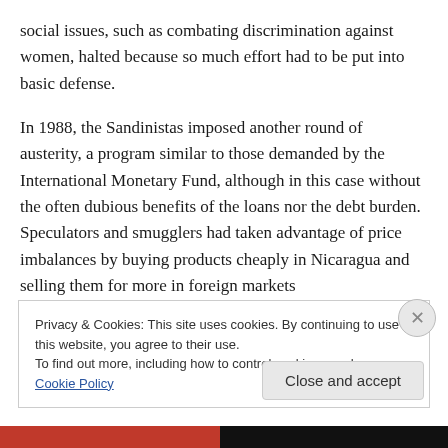social issues, such as combating discrimination against women, halted because so much effort had to be put into basic defense.
In 1988, the Sandinistas imposed another round of austerity, a program similar to those demanded by the International Monetary Fund, although in this case without the often dubious benefits of the loans nor the debt burden. Speculators and smugglers had taken advantage of price imbalances by buying products cheaply in Nicaragua and selling them for more in foreign markets
Privacy & Cookies: This site uses cookies. By continuing to use this website, you agree to their use. To find out more, including how to control cookies, see here: Cookie Policy
Close and accept